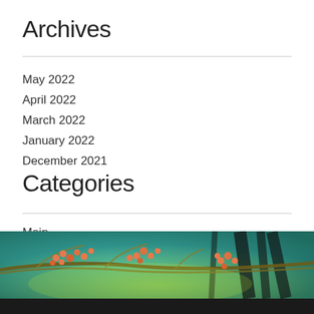Archives
May 2022
April 2022
March 2022
January 2022
December 2021
Categories
Main
[Figure (photo): A close-up photograph of branches with small orange berries against a teal/green background, partially obscured by a dark bar at the bottom]